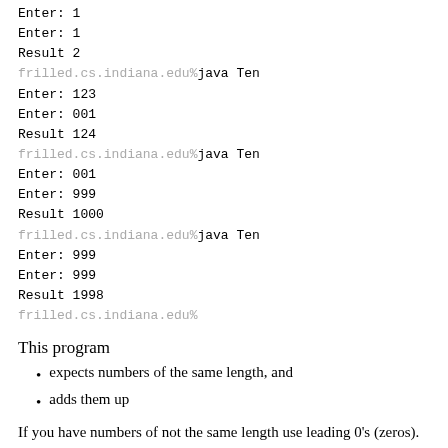Enter: 1
Enter: 1
Result 2
frilled.cs.indiana.edu%java Ten
Enter: 123
Enter: 001
Result 124
frilled.cs.indiana.edu%java Ten
Enter: 001
Enter: 999
Result 1000
frilled.cs.indiana.edu%java Ten
Enter: 999
Enter: 999
Result 1998
frilled.cs.indiana.edu%
This program
expects numbers of the same length, and
adds them up
If you have numbers of not the same length use leading 0's (zeros).
So 100 + 1 would be written 100 + 001.
Here's also how you can fix the alignment problem:
Nine.clean(c);